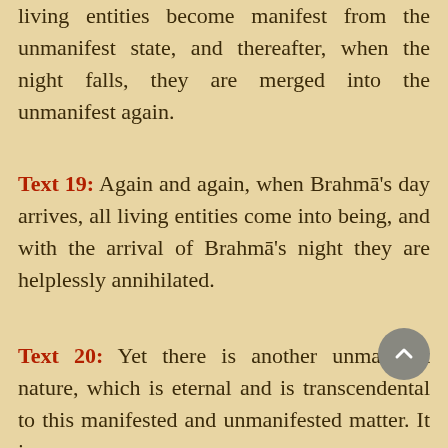At the beginning of Brahma's day, all living entities become manifest from the unmanifest state, and thereafter, when the night falls, they are merged into the unmanifest again.
Text 19: Again and again, when Brahma's day arrives, all living entities come into being, and with the arrival of Brahma's night they are helplessly annihilated.
Text 20: Yet there is another unmanifest nature, which is eternal and is transcendental to this manifested and unmanifested matter. It is